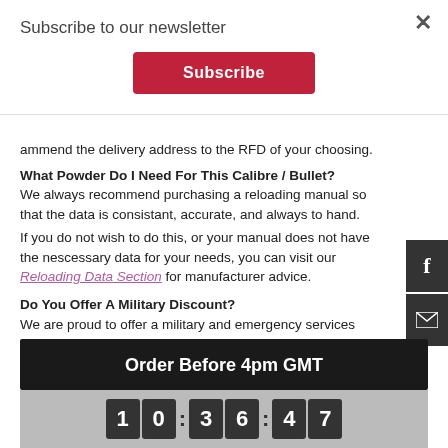Subscribe to our newsletter
Subscribe
ammend the delivery address to the RFD of your choosing.
What Powder Do I Need For This Calibre / Bullet?
We always recommend purchasing a reloading manual so that the data is consistant, accurate, and always to hand.
If you do not wish to do this, or your manual does not have the nescessary data for your needs, you can visit our Reloading Data Section for manufacturer advice.
Do You Offer A Military Discount?
We are proud to offer a military and emergency services discount of 5% to any member with valid ID. All we require is for you to be a member of the Defence Discount Service or Blue Light Discount where vouchers codes for a 5% discount will be provided within their websites.
Order Before 4pm GMT
[Figure (other): Countdown timer showing digits 10:36:47]